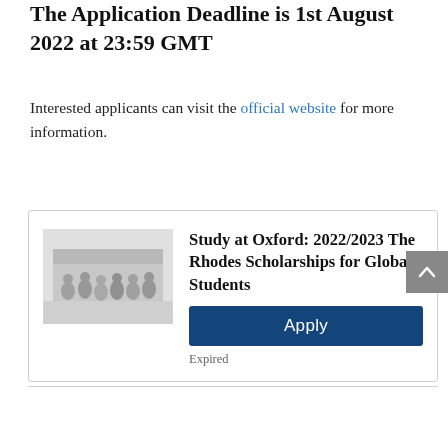The Application Deadline is 1st August 2022 at 23:59 GMT
Interested applicants can visit the official website for more information.
[Figure (photo): Group photo of students at Oxford, shown in grayscale/faded]
Study at Oxford: 2022/2023 The Rhodes Scholarships for Global Students
Apply
Expired